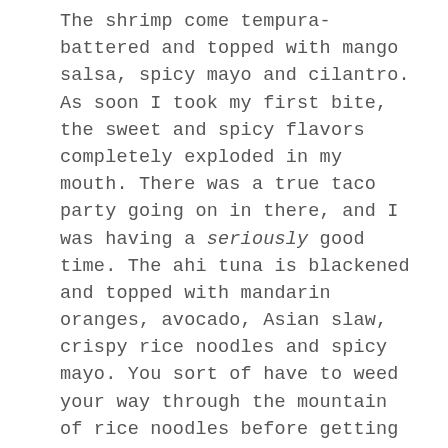The shrimp come tempura-battered and topped with mango salsa, spicy mayo and cilantro. As soon I took my first bite, the sweet and spicy flavors completely exploded in my mouth. There was a true taco party going on in there, and I was having a seriously good time. The ahi tuna is blackened and topped with mandarin oranges, avocado, Asian slaw, crispy rice noodles and spicy mayo. You sort of have to weed your way through the mountain of rice noodles before getting to the meat of things (or in this case, fish), but once you do, you'll be jumping for joy. There were so many incredible flavors and textures going on, and the tuna was perfectly seasoned. There are two vegetarian taco options on the menu — kale & sweet potato and tofu. I'm much more of a veggie-lover than I am a fake-meat lover, so the braised kale and roasted sweet potato hash topped with refried beans, avocado and cilantro-lime crema sounded much more appealing to me. As with the other tacos, we completely...